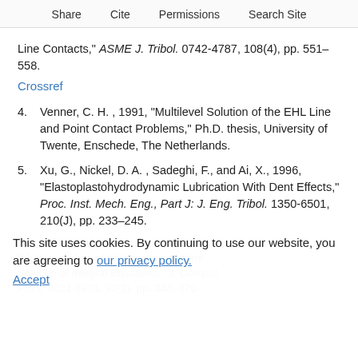Share  Cite  Permissions  Search Site
Line Contacts," ASME J. Tribol. 0742-4787, 108(4), pp. 551–558.
Crossref
4. Venner, C. H. , 1991, "Multilevel Solution of the EHL Line and Point Contact Problems," Ph.D. thesis, University of Twente, Enschede, The Netherlands.
5. Xu, G., Nickel, D. A. , Sadeghi, F., and Ai, X., 1996, "Elastoplastohydrodynamic Lubrication With Dent Effects," Proc. Inst. Mech. Eng., Part J: J. Eng. Tribol. 1350-6501, 210(J), pp. 233–245.
This site uses cookies. By continuing to use our website, you are agreeing to our privacy policy. Accept
Brandt, A., and Lubrecht, A. A., 1990, "Multilevel Matrix Multiplication and the Solution of Integral Equations," J. Comput. Phys. 0021-9991, 90(2), pp. 348–370